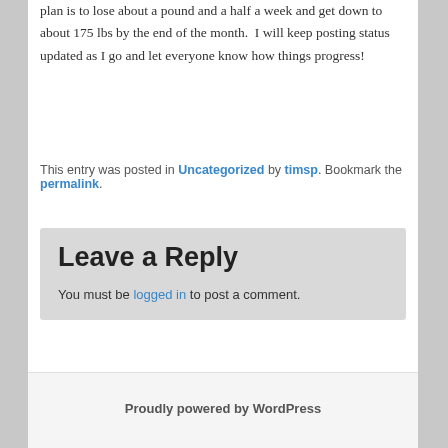plan is to lose about a pound and a half a week and get down to about 175 lbs by the end of the month.  I will keep posting status updated as I go and let everyone know how things progress!
This entry was posted in Uncategorized by timsp. Bookmark the permalink.
Leave a Reply
You must be logged in to post a comment.
Proudly powered by WordPress